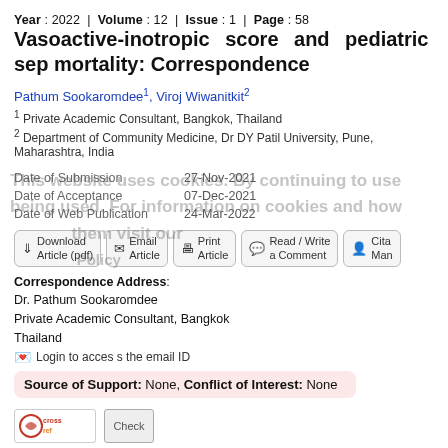Year : 2022 | Volume : 12 | Issue : 1 | Page : 58
Vasoactive-inotropic score and pediatric sep mortality: Correspondence
Pathum Sookaromdee1, Viroj Wiwanitkit2
1 Private Academic Consultant, Bangkok, Thailand
2 Department of Community Medicine, Dr DY Patil University, Pune, Maharashtra, India
|  |  |
| --- | --- |
| Date of Submission | 27-Nov-2021 |
| Date of Acceptance | 07-Dec-2021 |
| Date of Web Publication | 24-Mar-2022 |
[Figure (screenshot): Action buttons row: Download Article (pdf), Email Article, Print Article, Read/Write a Comment, Cite/Man]
Correspondence Address:
Dr. Pathum Sookaromdee
Private Academic Consultant, Bangkok
Thailand
Login to access the email ID
Source of Support: None, Conflict of Interest: None
[Figure (logo): Crossref logo and Check button]